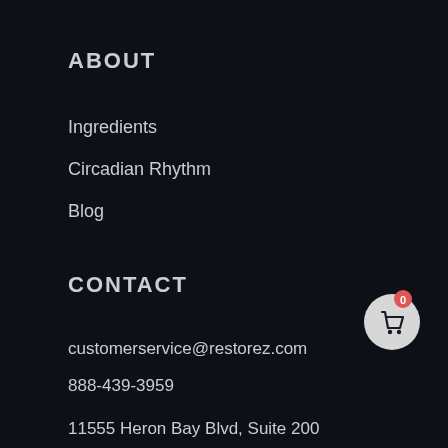ABOUT
Ingredients
Circadian Rhythm
Blog
CONTACT
customerservice@restorez.com
888-439-3959
11555 Heron Bay Blvd, Suite 200
Coral Springs Florida
33076 United States
[Figure (illustration): Shopping cart icon with badge showing 0 items, white circle background with dark cart icon, red notification badge]